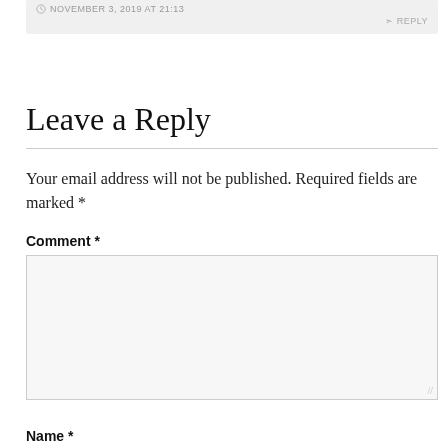NOVEMBER 3, 2019 AT 21:13
REPLY
Leave a Reply
Your email address will not be published. Required fields are marked *
Comment *
Name *